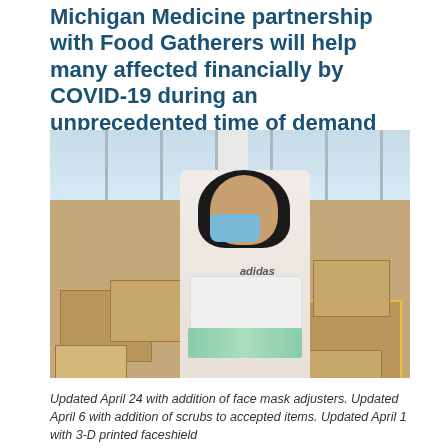Michigan Medicine partnership with Food Gatherers will help many affected financially by COVID-19 during an unprecedented time of demand
[Figure (photo): A person wearing a black hijab and blue face mask in an Adidas hoodie holds a bundle of folded items in a large room filled with cardboard boxes and supplies.]
Updated April 24 with addition of face mask adjusters. Updated April 6 with addition of scrubs to accepted items. Updated April 1 with 3-D printed faceshield